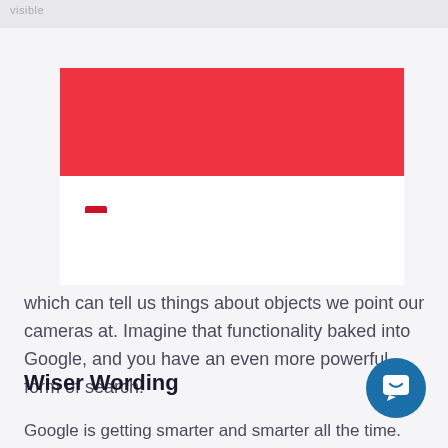[Figure (screenshot): Blue notification card with text: 🖥 Digital Nomad? ✏️ Apply for Growth Residency Programs in Singapore 🇸🇬 & Bali 🇮🇩 and a link 🔗 Join BOOTSTRACK. Has an X close button.]
which can tell us things about objects we point our cameras at. Imagine that functionality baked into Google, and you have an even more powerful form of search!
Wiser Wording
Google is getting smarter and smarter all the time. Not only